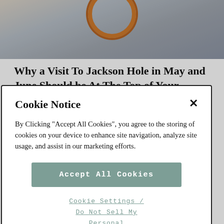[Figure (photo): Partial photo of a wagon wheel on a concrete/pavement surface, cropped at top of page]
Why a Visit To Jackson Hole in May and June Should be At The Top of Your Bucket List
March 15, 2017
Cookie Notice
By Clicking "Accept All Cookies", you agree to the storing of cookies on your device to enhance site navigation, analyze site usage, and assist in our marketing efforts.
Accept All Cookies
Cookie Settings / Do Not Sell My Personal Information